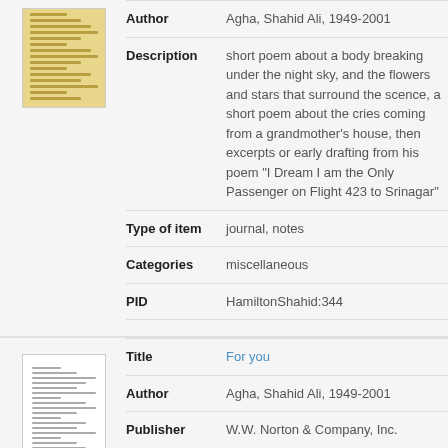[Figure (photo): Thumbnail of a yellowed handwritten or typed manuscript page]
| Field | Value |
| --- | --- |
| Author | Agha, Shahid Ali, 1949-2001 |
| Description | short poem about a body breaking under the night sky, and the flowers and stars that surround the scence, a short poem about the cries coming from a grandmother's house, then excerpts or early drafting from his poem "I Dream I am the Only Passenger on Flight 423 to Srinagar" |
| Type of item | journal, notes |
| Categories | miscellaneous |
| PID | HamiltonShahid:344 |
[Figure (photo): Thumbnail of a white typed manuscript page]
| Field | Value |
| --- | --- |
| Title | For you |
| Author | Agha, Shahid Ali, 1949-2001 |
| Publisher | W.W. Norton & Company, Inc. |